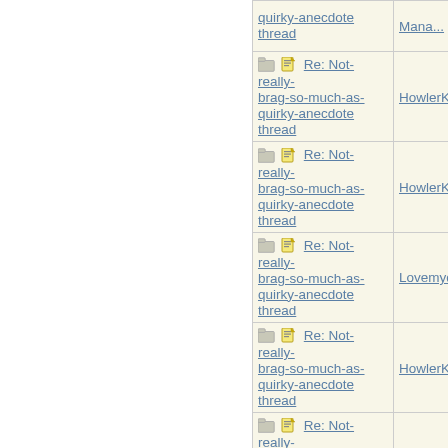| Subject | Author |
| --- | --- |
| quirky-anecdote thread | Mana... |
| Re: Not-really-brag-so-much-as-quirky-anecdote thread | HowlerKa... |
| Re: Not-really-brag-so-much-as-quirky-anecdote thread | HowlerKa... |
| Re: Not-really-brag-so-much-as-quirky-anecdote thread | Lovemyd... |
| Re: Not-really-brag-so-much-as-quirky-anecdote thread | HowlerKa... |
| Re: Not-really-brag-so-much-as-quirky-anecdote thread | HowlerKa... |
| Re: Not-really-brag-so-much-as-quirky-anecdote thread | chay |